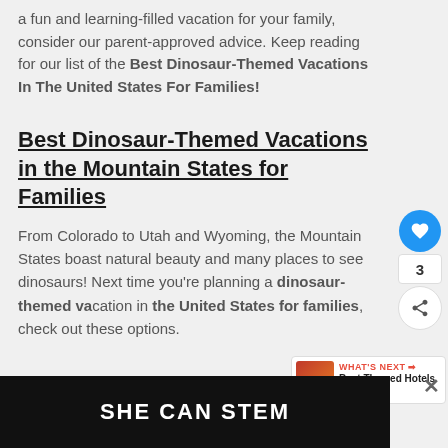a fun and learning-filled vacation for your family, consider our parent-approved advice. Keep reading for our list of the Best Dinosaur-Themed Vacations In The United States For Families!
Best Dinosaur-Themed Vacations in the Mountain States for Families
From Colorado to Utah and Wyoming, the Mountain States boast natural beauty and many places to see dinosaurs! Next time you're planning a dinosaur-themed vacation in the United States for families, check out these options.
[Figure (screenshot): What's Next widget showing 'Best Themed Hotels In Th...' with a thumbnail image]
[Figure (screenshot): Advertisement banner with dark background showing 'SHE CAN STEM' in white bold text]